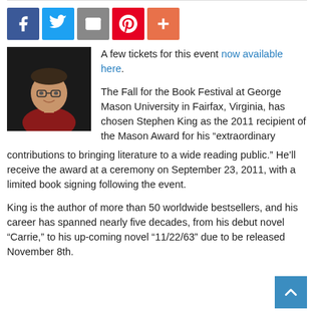[Figure (other): Social sharing buttons: Facebook (blue), Twitter (light blue), Email (gray), Pinterest (red), Plus/More (orange-red)]
[Figure (photo): Author photo of Stephen King, a middle-aged man with glasses wearing a red shirt, dark background]
A few tickets for this event now available here.
The Fall for the Book Festival at George Mason University in Fairfax, Virginia, has chosen Stephen King as the 2011 recipient of the Mason Award for his “extraordinary contributions to bringing literature to a wide reading public.” He’ll receive the award at a ceremony on September 23, 2011, with a limited book signing following the event.
King is the author of more than 50 worldwide bestsellers, and his career has spanned nearly five decades, from his debut novel “Carrie,” to his up-coming novel “11/22/63” due to be released November 8th.